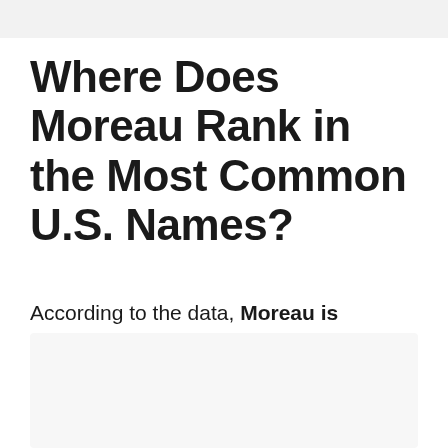Where Does Moreau Rank in the Most Common U.S. Names?
According to the data, Moreau is ranked #3,943 in terms of the most common surnames in America.